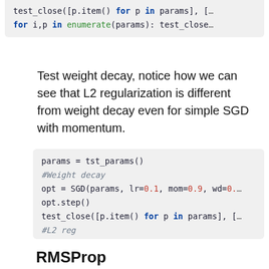[Figure (screenshot): Top code block snippet showing: test_close([p.item() for p in params], [... and for i,p in enumerate(params): test_close]
Test weight decay, notice how we can see that L2 regularization is different from weight decay even for simple SGD with momentum.
[Figure (screenshot): Code block: params = tst_params(), #Weight decay, opt = SGD(params, lr=0.1, mom=0.9, wd=0.1), opt.step(), test_close([p.item() for p in params], [..., #L2 reg, opt = SGD(params, lr=0.1, mom=0.9, wd=0.1), opt.step(), #TODO: fix cause this formula was wrong, #test_close([p.item() for p in params],]
RMSProp